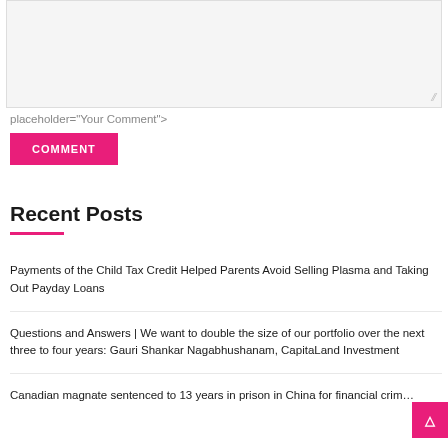[Figure (screenshot): Comment textarea input box with resize handle, partially visible]
placeholder="Your Comment">
COMMENT
Recent Posts
Payments of the Child Tax Credit Helped Parents Avoid Selling Plasma and Taking Out Payday Loans
Questions and Answers | We want to double the size of our portfolio over the next three to four years: Gauri Shankar Nagabhushanam, CapitaLand Investment
Canadian magnate sentenced to 13 years in prison in China for financial crim…